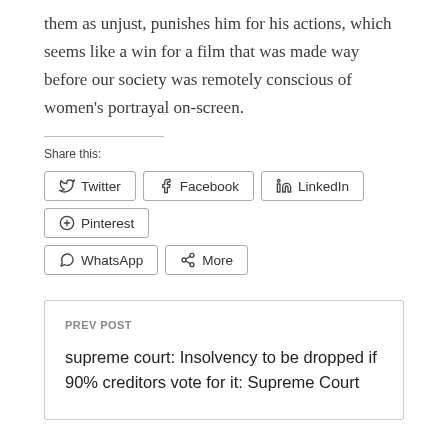them as unjust, punishes him for his actions, which seems like a win for a film that was made way before our society was remotely conscious of women's portrayal on-screen.
Share this:
Twitter | Facebook | LinkedIn | Pinterest | WhatsApp | More
PREV POST
supreme court: Insolvency to be dropped if 90% creditors vote for it: Supreme Court